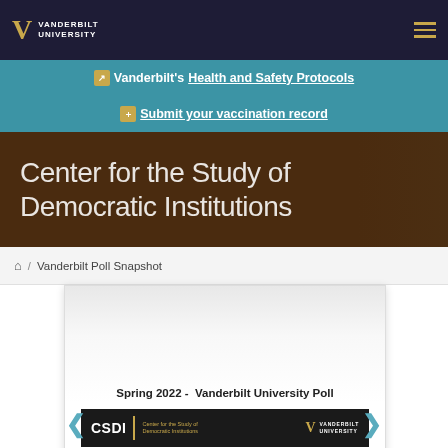Vanderbilt University
Vanderbilt's Health and Safety Protocols | Submit your vaccination record
Center for the Study of Democratic Institutions
Home / Vanderbilt Poll Snapshot
[Figure (screenshot): Slideshow card showing 'Spring 2022 - Vanderbilt University Poll' with CSDI and Vanderbilt University logos on a dark bar, with left and right navigation arrows]